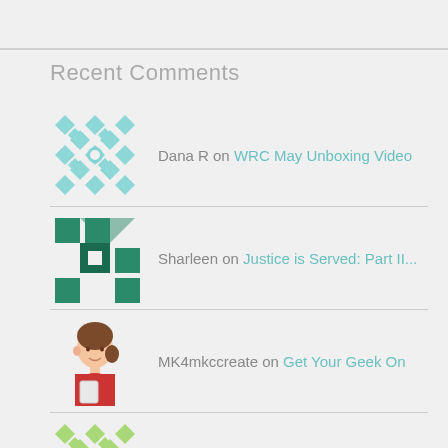Recent Comments
Dana R on WRC May Unboxing Video
Sharleen on Justice is Served: Part II...
MK4mkccreate on Get Your Geek On
KB on Get Your Geek On
KB on Pawfect Cards